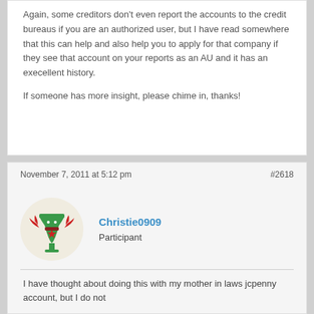Again, some creditors don't even report the accounts to the credit bureaus if you are an authorized user, but I have read somewhere that this can help and also help you to apply for that company if they see that account on your reports as an AU and it has an execellent history.
If someone has more insight, please chime in, thanks!
November 7, 2011 at 5:12 pm
#2618
Christie0909
Participant
I have thought about doing this with my mother in laws jcpenny account, but I do not